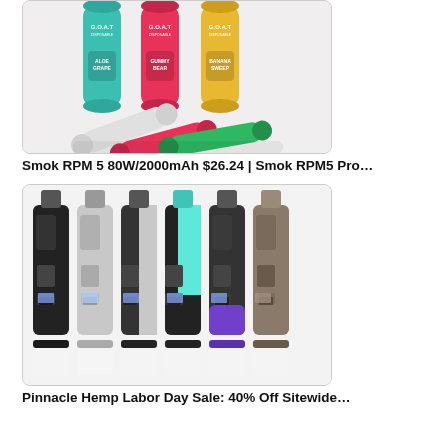[Figure (photo): Product photo of G.O.A.T disposable vape devices in multiple flavors and colors (Aloe Grape, Gummy Bear, Banana Sweep) shown upright and lying down with white/green/pink/teal/yellow colors]
Smok RPM 5 80W/2000mAh $26.24 | Smok RPM5 Pro…
[Figure (photo): Product photo of Smok RPM 5 vape devices in multiple color variants (black, white/silver, black/teal, purple, grey/stone) shown in a lineup]
Pinnacle Hemp Labor Day Sale: 40% Off Sitewide…